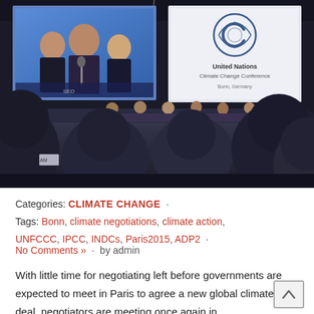[Figure (photo): Conference room photo showing attendees from behind watching a panel at a United Nations Climate Change Conference in Bonn, Germany. Two large screens are visible — the left showing speakers at a podium and the right displaying the UNFCCC logo with text 'United Nations Climate Change Conference, Bonn, Germany'.]
Categories: CLIMATE CHANGE ·
Tags: Bonn, climate negotiations, climate action, UNFCCC, IPCC, INDCs, Paris2015, ADP2 ·
No Comments » · by admin
With little time for negotiating left before governments are expected to meet in Paris to agree a new global climate deal, negotiators are meeting once again in